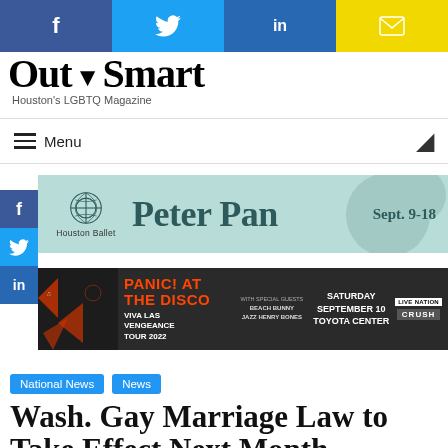[Figure (other): Social media share buttons bar: Facebook (blue), Twitter (cyan), LinkedIn (blue), Email (yellow)]
Out Smart — Houston's LGBTQ Magazine
≡ Menu
[Figure (other): Houston Ballet Peter Pan advertisement banner — Sept. 9-18]
[Figure (other): Panic! At The Disco — Viva Las Vengeance Tour 2022 — Saturday September 10 Toyota Center advertisement banner]
National News
News
Wash. Gay Marriage Law to Take Effect Next Month